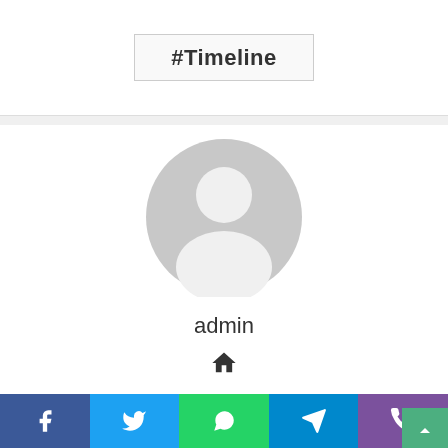#Timeline
[Figure (illustration): Gray default user avatar placeholder — circular silhouette with head and shoulders]
admin
[Figure (illustration): Home icon (house symbol)]
[Figure (illustration): Mail/envelope icon]
[Figure (illustration): Scroll-to-top button (green, up arrow)]
[Figure (illustration): Social share bar with Facebook, Twitter, WhatsApp, Telegram, Viber buttons]